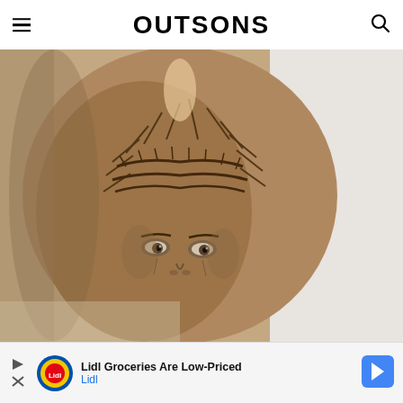OUTSONS
[Figure (photo): Close-up photo of a forearm tattoo depicting Jesus Christ wearing a crown of thorns, rendered in black and grey realism style. The face shows expressive details with detailed eyes looking upward, and intricate thorny crown details.]
[Figure (other): Lidl advertisement banner: 'Lidl Groceries Are Low-Priced' with Lidl logo and directional arrow icon]